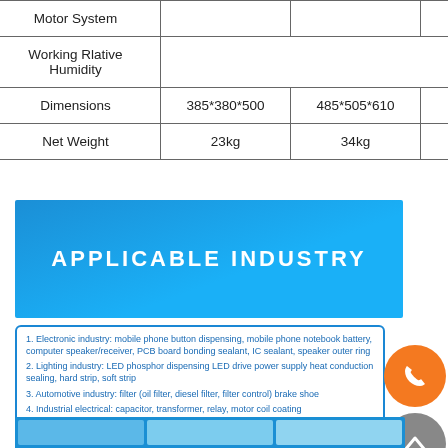|  |  |  |  |
| --- | --- | --- | --- |
| Motor System |  |  | Micro stepping |
| Working Rlative Humidity |  |  | 20-90% no cond |
| Dimensions | 385*380*500 | 485*505*610 | 585*610*6... |
| Net Weight | 23kg | 34kg | 41kg |
[Figure (infographic): Blue banner with white bold text reading APPLICABLE INDUSTRY]
1. Electronic industry: mobile phone button dispensing, mobile phone notebook battery, computer speaker/receiver, PCB board bonding sealant, IC sealant, speaker outer ring
2. Lighting industry: LED phosphor dispensing LED drive power supply heat conduction sealing, hard strip, soft strip
3. Automotive industry: filter (oil filter, diesel filter, filter control) brake shoe
4. Industrial electrical: capacitor, transformer, relay, motor coil coating
5. Solar photovoltaic: photovoltaic inverter, solar cell box, solar module
[Figure (photo): Bottom strip with three industrial application photos on blue background]